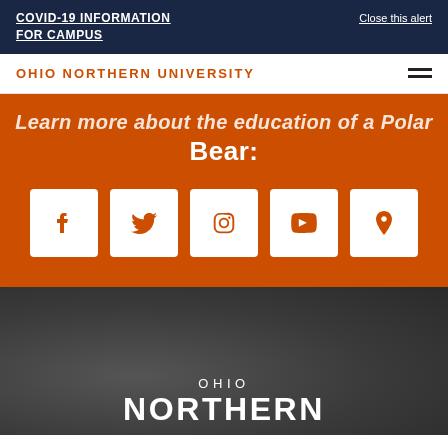COVID-19 INFORMATION FOR CAMPUS | Close this alert
OHIO NORTHERN UNIVERSITY
Bear:
[Figure (infographic): Five social media icons in white squares on orange background: Facebook, Twitter, Instagram, YouTube, and Location pin]
[Figure (logo): Ohio Northern University logo text on dark grey textured background. Text reads OHIO NORTHERN]